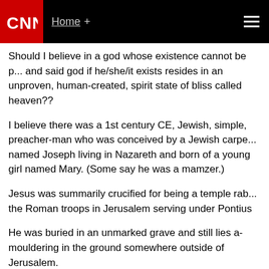CNN | Home +
Should I believe in a god whose existence cannot be proved and said god if he/she/it exists resides in an unproven, human-created, spirit state of bliss called heaven??
I believe there was a 1st century CE, Jewish, simple, preacher-man who was conceived by a Jewish carpenter named Joseph living in Nazareth and born of a young girl named Mary. (Some say he was a mamzer.)
Jesus was summarily crucified for being a temple rab the Roman troops in Jerusalem serving under Pontius
He was buried in an unmarked grave and still lies a-mouldering in the ground somewhere outside of Jerusalem.
Said Jesus' story was embellished and "mythicized" by many semi-fiction writers. A descent into Hell, a bodily and ascension stories were promulgated to compete with Caesar myths. Said stories were so popular that they